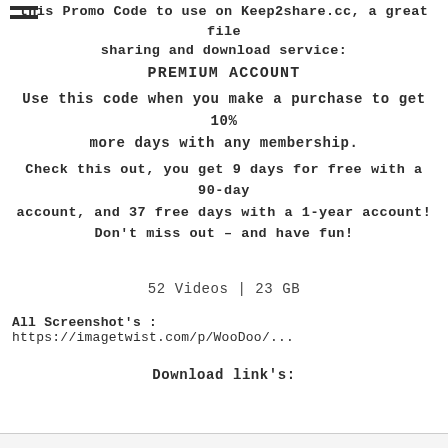this Promo Code to use on Keep2share.cc, a great file sharing and download service:
PREMIUM ACCOUNT
Use this code when you make a purchase to get 10% more days with any membership.
Check this out, you get 9 days for free with a 90-day account, and 37 free days with a 1-year account! Don't miss out – and have fun!
52 Videos | 23 GB
All Screenshot's : https://imagetwist.com/p/WooDoo/...
Download link's: